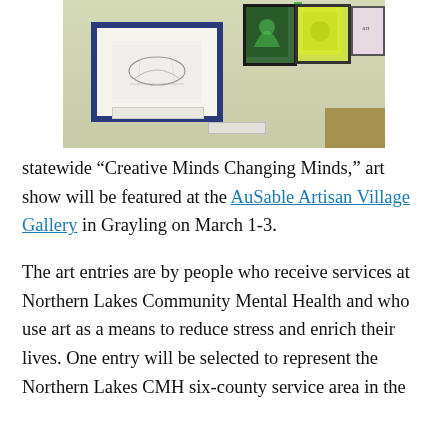[Figure (photo): Gallery wall with framed artwork. A large blue-framed pencil sketch is mounted on a light green wall, with additional colorful artworks visible to the right, including a dark green piece, a bright yellow-green piece, and a light pink poster.]
statewide “Creative Minds Changing Minds,” art show will be featured at the AuSable Artisan Village Gallery in Grayling on March 1-3.
The art entries are by people who receive services at Northern Lakes Community Mental Health and who use art as a means to reduce stress and enrich their lives. One entry will be selected to represent the Northern Lakes CMH six-county service area in the